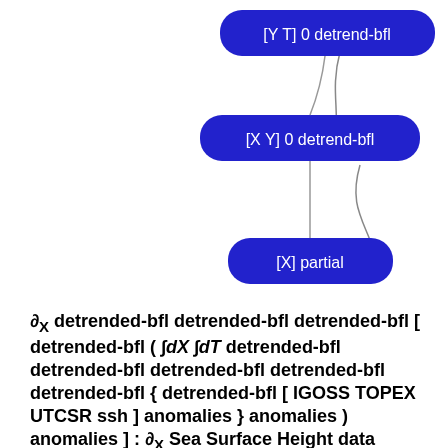[Figure (schematic): Three blue rounded badge labels connected by curved lines: '[Y T] 0 detrend-bfl', '[X Y] 0 detrend-bfl', '[X] partial', arranged in a cascading right-side layout with connecting lines between them.]
∂X detrended-bfl detrended-bfl detrended-bfl [ detrended-bfl ( ∫dX ∫dT detrended-bfl detrended-bfl detrended-bfl detrended-bfl detrended-bfl { detrended-bfl [ IGOSS TOPEX UTCSR ssh ] anomalies } anomalies ) anomalies ] : ∂X Sea Surface Height data
ssh adif adif adif adif adif adif int_dT int_dX int_dX int_dX adif adif adif adif adif ∂X Sea Surface Height from IGOSS TOPEX UTCSR: University of Texas at Austin Center for Space Research TOPEX/POSEIDON Gridded Sea Level Anomalies.